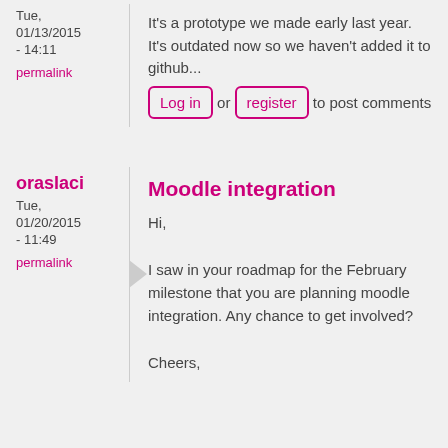Tue, 01/13/2015 - 14:11
permalink
It's a prototype we made early last year. It's outdated now so we haven't added it to github...
Log in or register to post comments
oraslaci
Tue, 01/20/2015 - 11:49
permalink
Moodle integration
Hi,

I saw in your roadmap for the February milestone that you are planning moodle integration. Any chance to get involved?

Cheers,